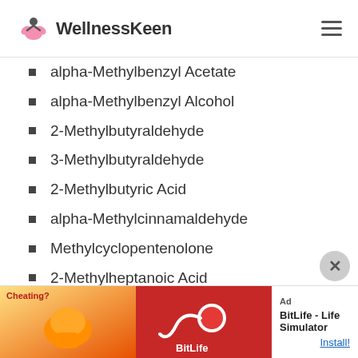WellnessKeen
alpha-Methylbenzyl Acetate
alpha-Methylbenzyl Alcohol
2-Methylbutyraldehyde
3-Methylbutyraldehyde
2-Methylbutyric Acid
alpha-Methylcinnamaldehyde
Methylcyclopentenolone
2-Methylheptanoic Acid
2-Methylhexanoic Acid
3-Methylpentanoic Acid
4-Methylpentanoic Acid
[Figure (screenshot): Ad banner: BitLife - Life Simulator app advertisement with Install! link]